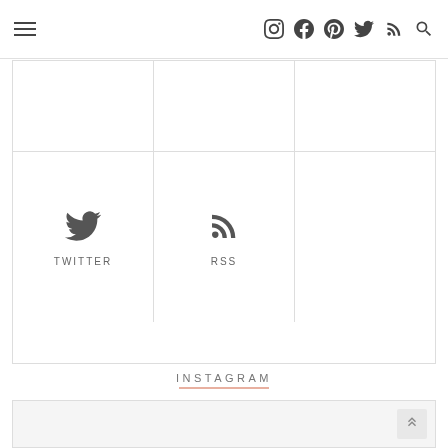Navigation bar with hamburger menu and social icons: Instagram, Facebook, Pinterest, Twitter, RSS, Search
[Figure (other): Social media link grid with Twitter and RSS icons in bottom two cells, top row empty cells]
INSTAGRAM
[Figure (other): Instagram feed placeholder image area, large white/light gray box]